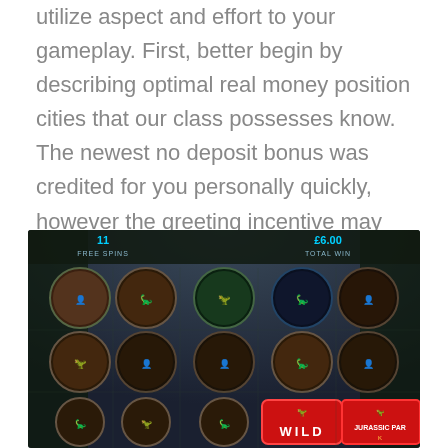utilize aspect and effort to your gameplay. First, better begin by describing optimal real money position cities that our class possesses know. The newest no deposit bonus was credited for you personally quickly, however the greeting incentive may require you to generate the first deposit.
[Figure (screenshot): Screenshot of a Jurassic Park slot machine game showing 11 free spins and £6.00 total win. The reels display circular icons featuring dinosaurs and human characters from Jurassic Park, with a WILD symbol and Jurassic Park logo visible at the bottom.]